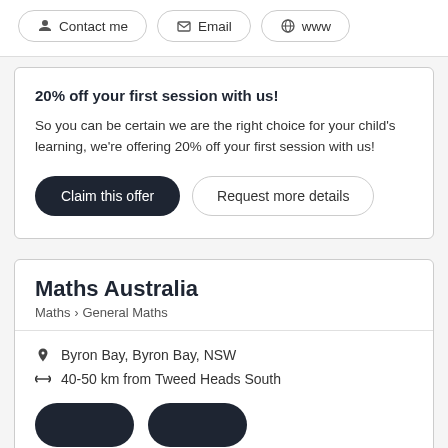Contact me | Email | www
20% off your first session with us!
So you can be certain we are the right choice for your child's learning, we're offering 20% off your first session with us!
Claim this offer | Request more details
Maths Australia
Maths > General Maths
Byron Bay, Byron Bay, NSW
40-50 km from Tweed Heads South